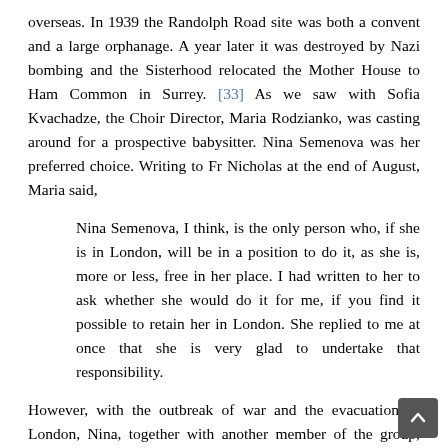overseas. In 1939 the Randolph Road site was both a convent and a large orphanage. A year later it was destroyed by Nazi bombing and the Sisterhood relocated the Mother House to Ham Common in Surrey. [33] As we saw with Sofia Kvachadze, the Choir Director, Maria Rodzianko, was casting around for a prospective babysitter. Nina Semenova was her preferred choice. Writing to Fr Nicholas at the end of August, Maria said,
Nina Semenova, I think, is the only person who, if she is in London, will be in a position to do it, as she is, more or less, free in her place. I had written to her to ask whether she would do it for me, if you find it possible to retain her in London. She replied to me at once that she is very glad to undertake that responsibility.
However, with the outbreak of war and the evacuation of London, Nina, together with another member of the group, Marina Liamina, had to relocate to St Michael's School in West Grinstead, Sussex, [34] some 50 miles